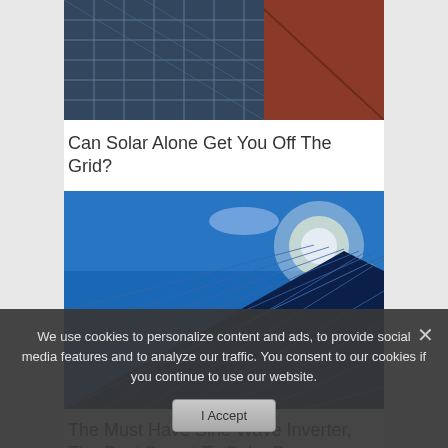[Figure (photo): Solar panels mounted on a red tiled roof, aerial/close-up view]
Can Solar Alone Get You Off The Grid?
[Figure (photo): Blue solar panels angled upward toward bright sun in blue sky with clouds]
The Must Have Sine Wave Inverter, The Best Secret To Solar P…
We use cookies to personalize content and ads, to provide social media features and to analyze our traffic. You consent to our cookies if you continue to use our website.